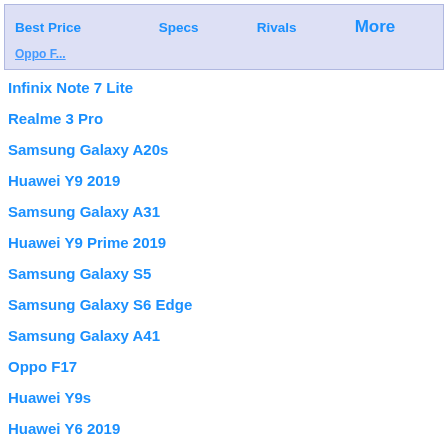Best Price   Specs   Rivals   More
Infinix Note 7 Lite
Realme 3 Pro
Samsung Galaxy A20s
Huawei Y9 2019
Samsung Galaxy A31
Huawei Y9 Prime 2019
Samsung Galaxy S5
Samsung Galaxy S6 Edge
Samsung Galaxy A41
Oppo F17
Huawei Y9s
Huawei Y6 2019